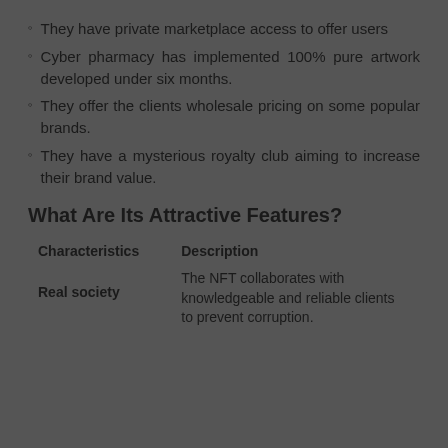They have private marketplace access to offer users
Cyber pharmacy has implemented 100% pure artwork developed under six months.
They offer the clients wholesale pricing on some popular brands.
They have a mysterious royalty club aiming to increase their brand value.
What Are Its Attractive Features?
| Characteristics | Description |
| --- | --- |
| Real society | The NFT collaborates with knowledgeable and reliable clients to prevent corruption. |